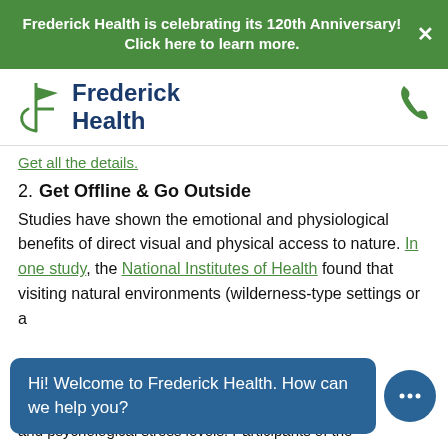Frederick Health is celebrating its 120th Anniversary! Click here to learn more.
[Figure (logo): Frederick Health logo with green flag icon and dark blue text reading 'Frederick Health']
Get all the details.
2. Get Offline & Go Outside
Studies have shown the emotional and physiological benefits of direct visual and physical access to nature. In one study, the National Institutes of Health found that visiting natural environments (wilderness-type settings or a
Hi! Welcome to Frederick Health. How can we help you?
and psychological stress levels. Participants of the